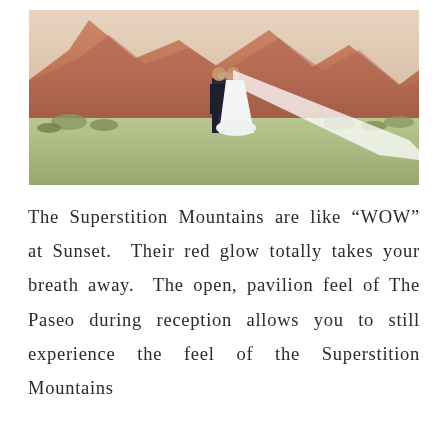[Figure (photo): A wedding couple standing in an open desert landscape with large red rocky mountains in the background at sunset. The groom is in a dark suit and the bride wears a long white dress with an extended veil trailing on the ground.]
The Superstition Mountains are like “WOW” at Sunset. Their red glow totally takes your breath away. The open, pavilion feel of The Paseo during reception allows you to still experience the feel of the Superstition Mountains